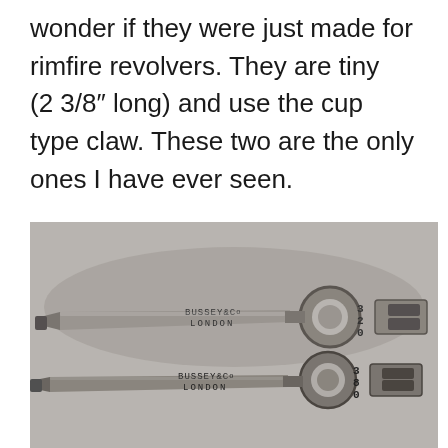wonder if they were just made for rimfire revolvers. They are tiny (2 3/8″ long) and use the cup type claw. These two are the only ones I have ever seen.
[Figure (photo): Photograph of two small metal tools (extractors or wrenches) marked 'BUSSEY&Co LONDON' with numbers 320 and 380, shown against a grey background.]